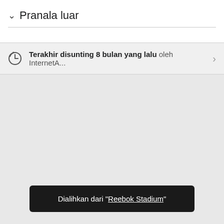Pranala luar
Terakhir disunting 8 bulan yang lalu oleh InternetA...
Dialihkan dari "Reebok Stadium"